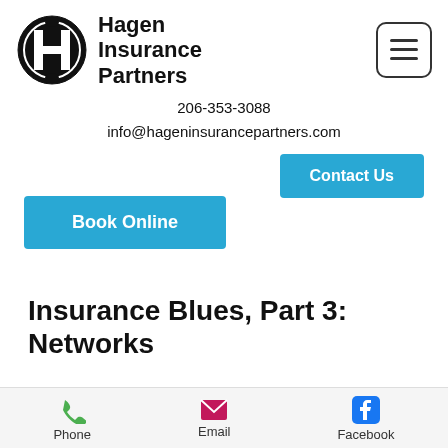[Figure (logo): Hagen Insurance Partners logo with circular H emblem and company name]
206-353-3088
info@hageninsurancepartners.com
Contact Us
Book Online
Insurance Blues, Part 3: Networks
Phone  Email  Facebook